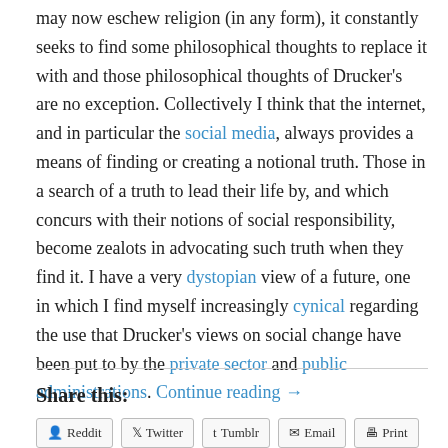may now eschew religion (in any form), it constantly seeks to find some philosophical thoughts to replace it with and those philosophical thoughts of Drucker's are no exception. Collectively I think that the internet, and in particular the social media, always provides a means of finding or creating a notional truth. Those in a search of a truth to lead their life by, and which concurs with their notions of social responsibility, become zealots in advocating such truth when they find it. I have a very dystopian view of a future, one in which I find myself increasingly cynical regarding the use that Drucker's views on social change have been put to by the private sector and public administrations. Continue reading →
Share this:
Reddit
Twitter
Tumblr
Email
Print